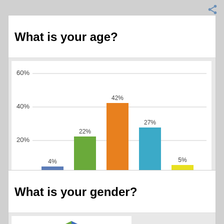What is your age?
[Figure (bar-chart): What is your age?]
What is your gender?
[Figure (pie-chart): Partially visible pie chart showing gender split, green slice for Female, blue slice for Male]